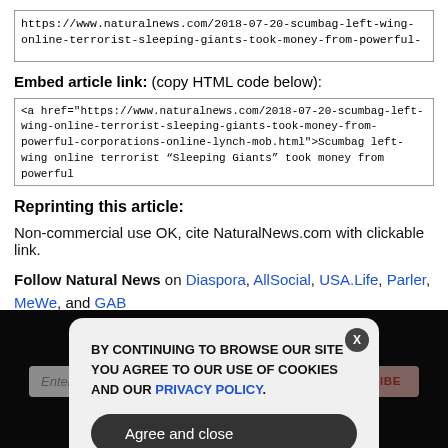https://www.naturalnews.com/2018-07-20-scumbag-left-wing-online-terrorist-sleeping-giants-took-money-from-powerful-
Embed article link: (copy HTML code below):
<a href="https://www.naturalnews.com/2018-07-20-scumbag-left-wing-online-terrorist-sleeping-giants-took-money-from-powerful-corporations-online-lynch-mob.html">Scumbag left-wing online terrorist “Sleeping Giants” took money from powerful
Reprinting this article:
Non-commercial use OK, cite NaturalNews.com with clickable link.
Follow Natural News on Diaspora, AllSocial, USA.Life, Parler, MeWe, and GAB
GET THE WORLD'S BEST NATURAL HEALTH NEWSLETTER DELIVERED STRAIGHT TO YOUR INBOX
BY CONTINUING TO BROWSE OUR SITE YOU AGREE TO OUR USE OF COOKIES AND OUR PRIVACY POLICY.
Agree and close